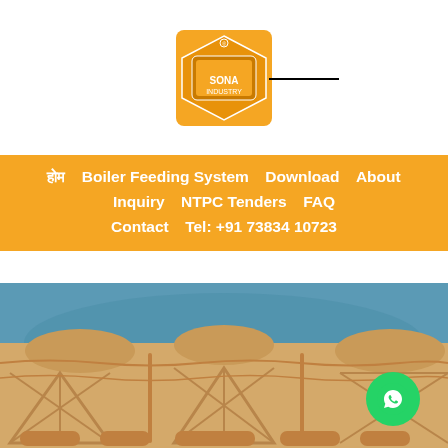[Figure (logo): Company logo in orange square with gear/shield emblem, followed by a horizontal line to the right]
होम  Boiler Feeding System  Download  About  Inquiry  NTPC Tenders  FAQ  Contact  Tel: +91 73834 10723
[Figure (photo): Close-up photograph of a sandy/beige colored biomass briquette or brick with geometric embossed patterns, against a blue background]